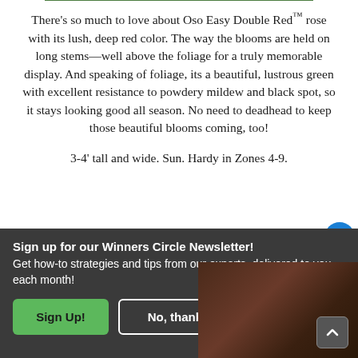There's so much to love about Oso Easy Double Red™ rose with its lush, deep red color. The way the blooms are held on long stems—well above the foliage for a truly memorable display. And speaking of foliage, its a beautiful, lustrous green with excellent resistance to powdery mildew and black spot, so it stays looking good all season. No need to deadhead to keep those beautiful blooms coming, too!
3-4' tall and wide. Sun. Hardy in Zones 4-9.
Sign up for our Winners Circle Newsletter!
Get how-to strategies and tips from our experts, delivered to you each month!